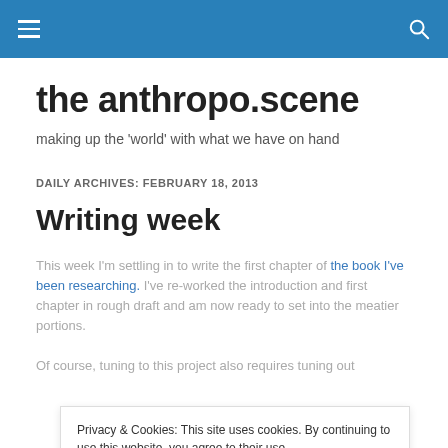the anthropo.scene — site navigation header with hamburger menu and search icon
the anthropo.scene
making up the 'world' with what we have on hand
DAILY ARCHIVES: FEBRUARY 18, 2013
Writing week
This week I'm settling in to write the first chapter of the book I've been researching. I've re-worked the introduction and first chapter in rough draft and am now ready to set into the meatier portions.
Of course, tuning to this project also requires tuning out
Privacy & Cookies: This site uses cookies. By continuing to use this website, you agree to their use. To find out more, including how to control cookies, see here: Cookie Policy
Close and accept